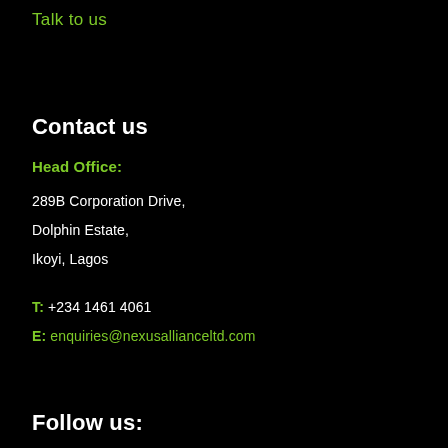Talk to us
Contact us
Head Office:
289B Corporation Drive,
Dolphin Estate,
Ikoyi, Lagos
T: +234 1461 4061
E: enquiries@nexusallianceltd.com
Follow us: